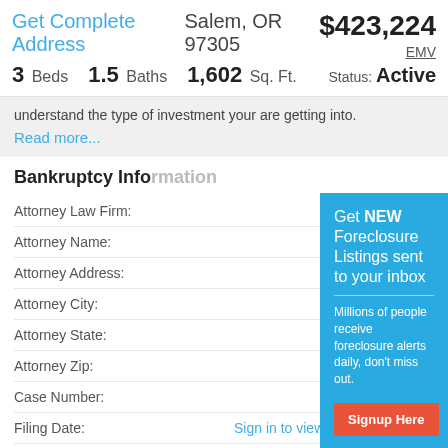Get Complete Address Salem, OR 97305
$423,224
EMV
Status: Active
3 Beds   1.5 Baths   1,602 Sq. Ft.
understand the type of investment your are getting into.
Read more...
Bankruptcy Information
Attorney Law Firm:
Attorney Name:
Attorney Address:
Attorney City:
Attorney State:
Attorney Zip:
Case Number:
Filing Date:   Sign in to view
Filing Type:   Sign in to view
[Figure (screenshot): Teal popup overlay: 'Get NEW Foreclosure Listings sent to your inbox' with subtext 'Millions of people receive foreclosure alerts daily, don't miss out.' A red 'Signup Here' button and an envelope icon, plus links 'No Thanks | Remind Me Later']